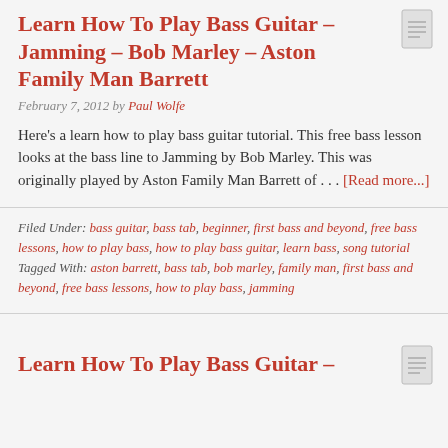Learn How To Play Bass Guitar – Jamming – Bob Marley – Aston Family Man Barrett
February 7, 2012 by Paul Wolfe
Here's a learn how to play bass guitar tutorial. This free bass lesson looks at the bass line to Jamming by Bob Marley. This was originally played by Aston Family Man Barrett of . . . [Read more...]
Filed Under: bass guitar, bass tab, beginner, first bass and beyond, free bass lessons, how to play bass, how to play bass guitar, learn bass, song tutorial Tagged With: aston barrett, bass tab, bob marley, family man, first bass and beyond, free bass lessons, how to play bass, jamming
Learn How To Play Bass Guitar –